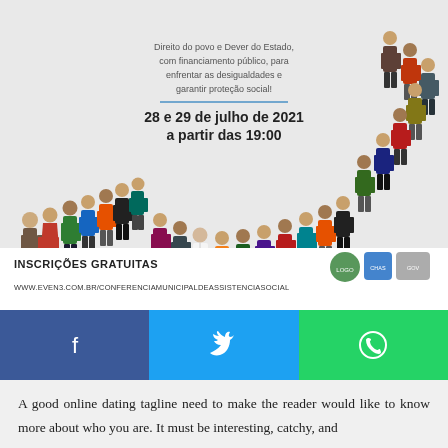[Figure (illustration): Conference poster showing a crowd of illustrated people arranged in a curved U-shape/heart shape on a light gray background. Text overlay shows event details for the Municipal Conference on Social Assistance. Logos of municipal bodies appear at bottom right.]
Direito do povo e Dever do Estado, com financiamento público, para enfrentar as desigualdades e garantir proteção social!
28 e 29 de julho de 2021 a partir das 19:00
INSCRIÇÕES GRATUITAS
WWW.EVEN3.COM.BR/CONFERENCIAMUNICIPALDEASSISTENCIASOCIAL
[Figure (infographic): Social media share bar with three buttons: Facebook (blue), Twitter (light blue), WhatsApp (green), each showing respective icons.]
A good online dating tagline need to make the reader would like to know more about who you are. It must be interesting, catchy, and